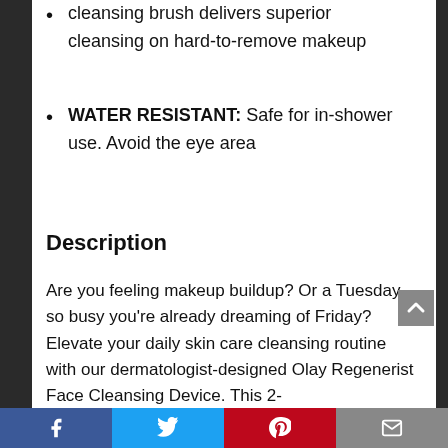MAKEUP NO MORE: Our facial cleansing brush delivers superior cleansing on hard-to-remove makeup
WATER RESISTANT: Safe for in-shower use. Avoid the eye area
Description
Are you feeling makeup buildup? Or a Tuesday so busy you’re already dreaming of Friday? Elevate your daily skin care cleansing routine with our dermatologist-designed Olay Regenerist Face Cleansing Device. This 2-